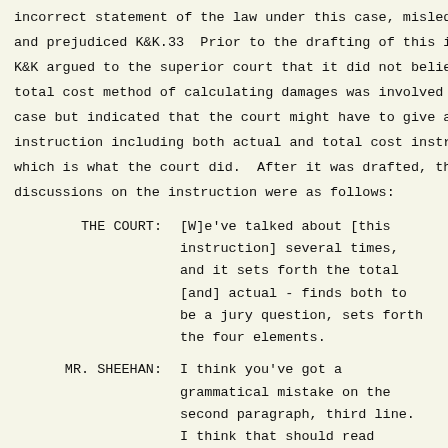incorrect statement of the law under this case, misled t
and prejudiced K&K.33  Prior to the drafting of this ins
K&K argued to the superior court that it did not believe
total cost method of calculating damages was involved in
case but indicated that the court might have to give an
instruction including both actual and total cost instruct
which is what the court did.  After it was drafted, the 
discussions on the instruction were as follows:
THE COURT:      [W]e've talked about [this
                instruction] several times,
                and it sets forth the total
                [and] actual - finds both to
                be a jury question, sets forth
                the four elements.
MR. SHEEHAN:    I think you've got a
                grammatical mistake on the
                second paragraph, third line.
                I think that should read
                "allowed to recover only if
                K&K."